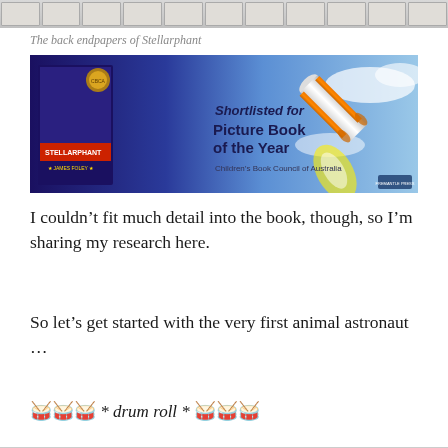[Figure (illustration): Strip of small book cover thumbnails arranged in a horizontal row at the top of the page]
The back endpapers of Stellarphant
[Figure (illustration): Promotional banner image for Stellarphant by James Foley, shortlisted for Picture Book of the Year by the Children's Book Council of Australia. Shows the book cover with an elephant in space suit and a rocket on a sky background.]
I couldn’t fit much detail into the book, though, so I’m sharing my research here.
So let’s get started with the very first animal astronaut …
🥁🥁🥁 * drum roll * 🥁🥁🥁